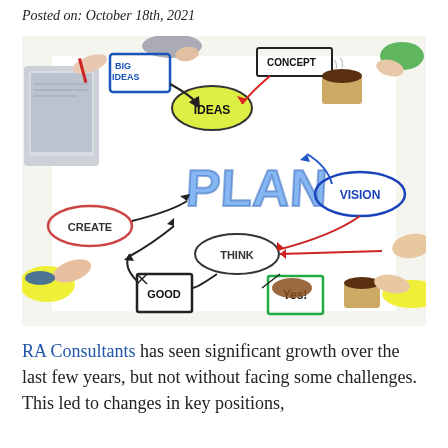Posted on: October 18th, 2021
[Figure (photo): Overhead view of people's hands around a whiteboard planning diagram with words: PLAN, IDEAS, VISION, CREATE, THINK, GOOD, Yes!, BIG IDEAS, CONCEPT, with arrows connecting them. Coffee cups and a tablet are visible.]
RA Consultants has seen significant growth over the last few years, but not without facing some challenges. This led to changes in key positions,